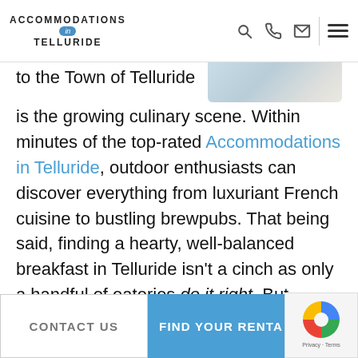Accommodations in Telluride
[Figure (photo): Partial view of a food photo (plate with food, light blue/white tones) at top right]
to the Town of Telluride is the growing culinary scene. Within minutes of the top-rated Accommodations in Telluride, outdoor enthusiasts can discover everything from luxuriant French cuisine to bustling brewpubs. That being said, finding a hearty, well-balanced breakfast in Telluride isn't a cinch as only a handful of eateries do it right. But, luckily for you, we've pieced together a handy list of our favorite breakfast joints that specialize in gourmet toast, to-go pastries, Southwestern omelets and so much more
CONTACT US  |  FIND YOUR RENTAL